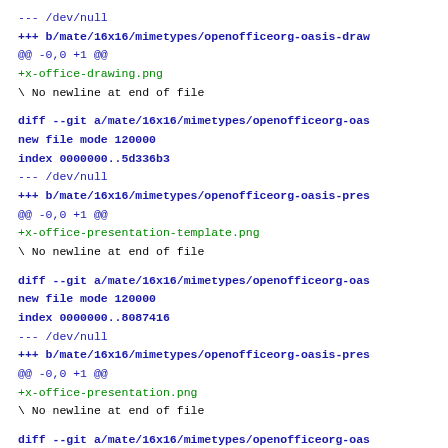--- /dev/null
+++ b/mate/16x16/mimetypes/openofficeorg-oasis-draw
@@ -0,0 +1 @@
+x-office-drawing.png
\ No newline at end of file
diff --git a/mate/16x16/mimetypes/openofficeorg-oas
new file mode 120000
index 0000000..5d336b3
--- /dev/null
+++ b/mate/16x16/mimetypes/openofficeorg-oasis-pres
@@ -0,0 +1 @@
+x-office-presentation-template.png
\ No newline at end of file
diff --git a/mate/16x16/mimetypes/openofficeorg-oas
new file mode 120000
index 0000000..8087416
--- /dev/null
+++ b/mate/16x16/mimetypes/openofficeorg-oasis-pres
@@ -0,0 +1 @@
+x-office-presentation.png
\ No newline at end of file
diff --git a/mate/16x16/mimetypes/openofficeorg-oas
new file mode 120000
index 0000000..7e23762
--- /dev/null
+++ b/mate/16x16/mimetypes/openofficeorg-oasis-spre
@@ -0,0 +1 @@